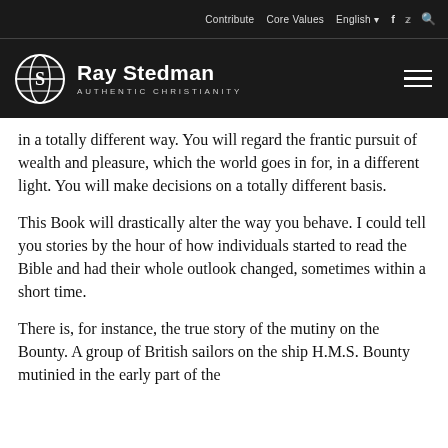Contribute   Core Values   English   f   Twitter   Search
[Figure (logo): Ray Stedman Authentic Christianity logo with globe icon and hamburger menu]
in a totally different way. You will regard the frantic pursuit of wealth and pleasure, which the world goes in for, in a different light. You will make decisions on a totally different basis.
This Book will drastically alter the way you behave. I could tell you stories by the hour of how individuals started to read the Bible and had their whole outlook changed, sometimes within a short time.
There is, for instance, the true story of the mutiny on the Bounty. A group of British sailors on the ship H.M.S. Bounty mutinied in the early part of the